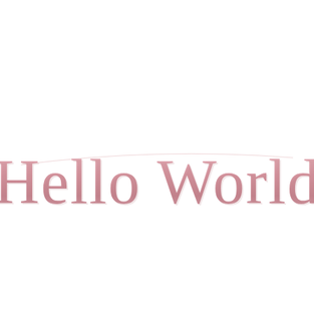[Figure (photo): A rose gold metallic cursive script banner reading 'Hello World' hung on a thin string/wire against a white background. The letters are cut-out style in a shiny pink-rose gold color, arranged in a garland shape with a gentle droop.]